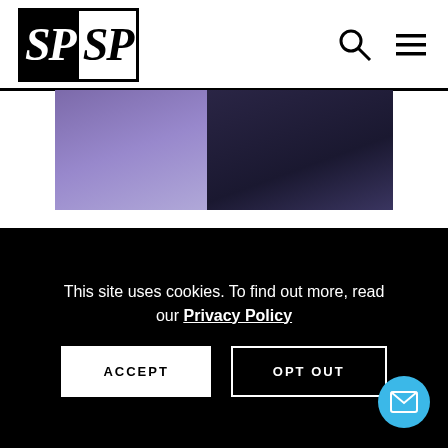[Figure (logo): SPSP logo — SP in black box, SP in white box with black border]
[Figure (photo): Partial photo of person at desk with laptop, cropped at top]
Why are Narcissists Promoted in their Jobs?
MAY 10, 2021    BY BARBARA
This site uses cookies. To find out more, read our Privacy Policy
ACCEPT
OPT OUT